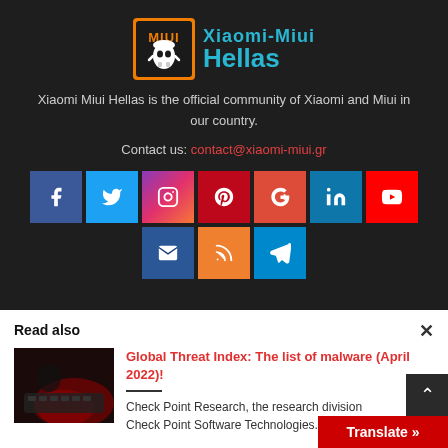[Figure (logo): Xiaomi-Miui Hellas logo with mascot character, orange/blue box icon and cyan text reading 'Xiaomi-Miui Hellas']
Xiaomi Miui Hellas is the official community of Xiaomi and Miui in our country.
Contact us: contact@xiaomi-miui.gr
[Figure (infographic): Social media icon buttons: Facebook (dark blue), Twitter (light blue), Instagram (gradient purple-pink-orange), Pinterest (dark red), Google+ (orange-red), LinkedIn (teal), YouTube (red), Email (dark blue), RSS (amber/gold), Telegram (blue)]
Read also
[Figure (photo): Dark photo of a person typing on a keyboard with red lighting, related to cybersecurity/malware article]
Global Threat Index: The list of malware (April 2022)!
Check Point Research, the research division Check Point Software Technologies...